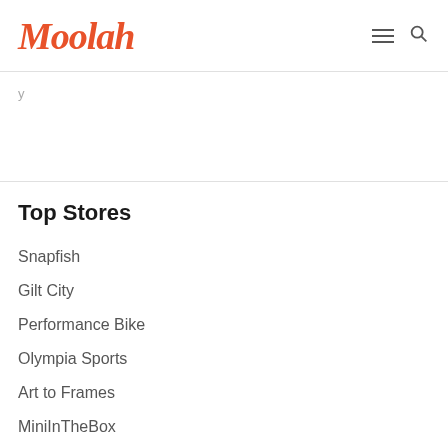Moolah
View All Stores
Top Stores
Snapfish
Gilt City
Performance Bike
Olympia Sports
Art to Frames
MiniInTheBox